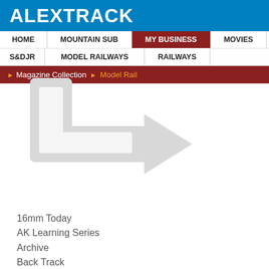ALEXTRACK
HOME | MOUNTAIN SUB | MY BUSINESS | MOVIES | S&DJR | MODEL RAILWAYS | RAILWAYS
Magazine Collection > Model Rail
[Figure (logo): Large light gray ALEXTRACK arrow logo watermark]
16mm Today
AK Learning Series
Archive
Back Track
Bemo Post
British Railway Journal
British Railway Modelling
British Railways Illustrated
Broadsheet
Classic Trains
Continental Modeller
Damaged